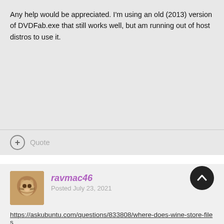Any help would be appreciated.  I'm using an old (2013) version of DVDFab.exe that still works well, but am running out of host distros to use it.
Quote
ravmac46
Posted July 23, 2021
https://askubuntu.com/questions/833808/where-does-wine-store-files
Quote
+1  1